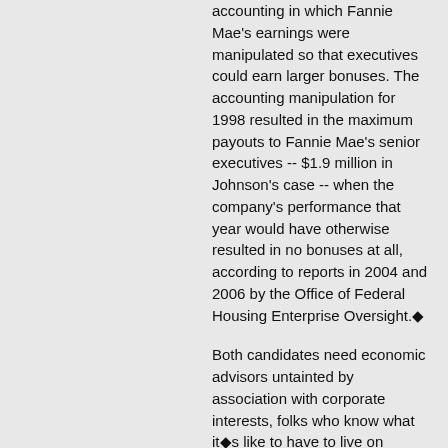accounting in which Fannie Mae's earnings were manipulated so that executives could earn larger bonuses. The accounting manipulation for 1998 resulted in the maximum payouts to Fannie Mae's senior executives -- $1.9 million in Johnson's case -- when the company's performance that year would have otherwise resulted in no bonuses at all, according to reports in 2004 and 2006 by the Office of Federal Housing Enterprise Oversight.◆
Both candidates need economic advisors untainted by association with corporate interests, folks who know what it◆s like to have to live on macaroni instead of meat, to spend sleepless nights in subways or shelters, to let diseases like cancer and diabetes gnaw away at a person◆s insides because they can◆t afford medicine and doctors. And the media need to tell their stories, not only to make the rest of us aware and stir us to action, but also to validate and empower with Webspace, column inches and airtime the plight of those so afflicted, to bring dignity and gravitas to their predicament.